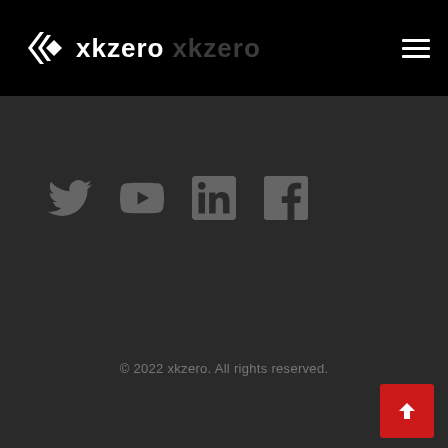xkzero xkzero
[Figure (logo): xkzero logo with angular chevron/diamond icon in white, followed by 'xkzero' in white bold text, then 'xkzero' in gray text, on a black header bar. Hamburger menu icon on the right.]
[Figure (illustration): Social media icons row: Twitter bird, YouTube play button, LinkedIn 'in', Facebook 'f' — all in gray on dark background]
© 2022 xkzero. All rights reserved.